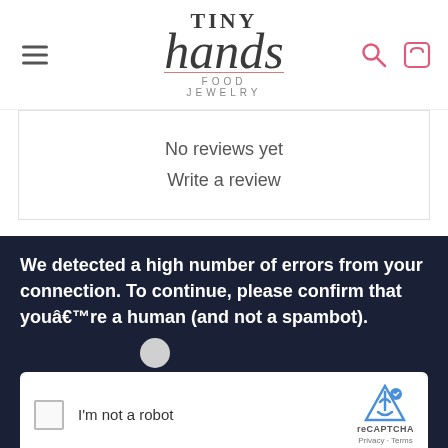Tiny Hands Food Jewelry
No reviews yet
Write a review
We detected a high number of errors from your connection. To continue, please confirm that youâ€™re a human (and not a spambot).
[Figure (screenshot): reCAPTCHA widget with checkbox labeled I'm not a robot, reCAPTCHA logo, Privacy and Terms links]